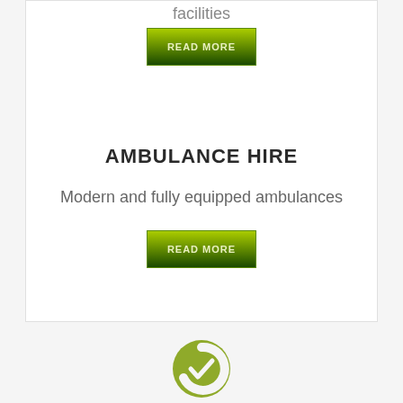facilities
[Figure (other): Green gradient READ MORE button]
AMBULANCE HIRE
Modern and fully equipped ambulances
[Figure (other): Green gradient READ MORE button]
[Figure (logo): Circular green checkmark logo]